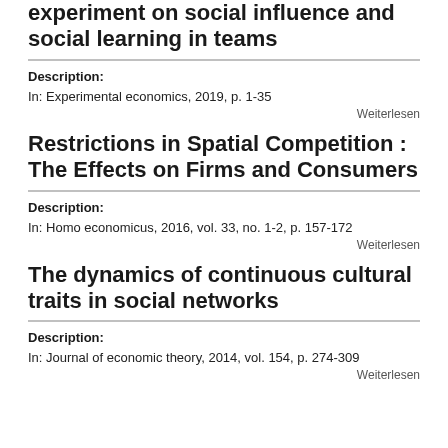experiment on social influence and social learning in teams
Description:
In: Experimental economics, 2019, p. 1-35
Weiterlesen
Restrictions in Spatial Competition : The Effects on Firms and Consumers
Description:
In: Homo economicus, 2016, vol. 33, no. 1-2, p. 157-172
Weiterlesen
The dynamics of continuous cultural traits in social networks
Description:
In: Journal of economic theory, 2014, vol. 154, p. 274-309
Weiterlesen